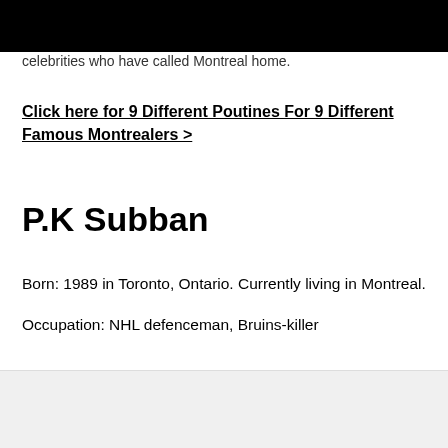celebrities who have called Montreal home.
Click here for 9 Different Poutines For 9 Different Famous Montrealers >
P.K Subban
Born: 1989 in Toronto, Ontario. Currently living in Montreal.
Occupation: NHL defenceman, Bruins-killer